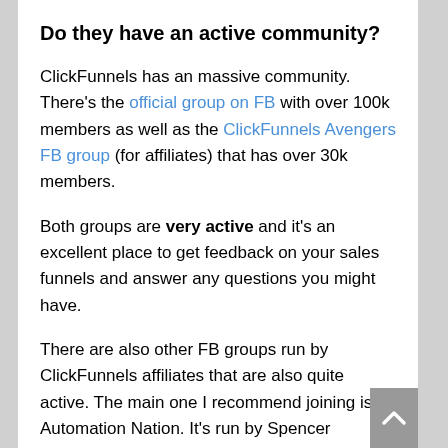Do they have an active community?
ClickFunnels has an massive community. There's the official group on FB with over 100k members as well as the ClickFunnels Avengers FB group (for affiliates) that has over 30k members.
Both groups are very active and it's an excellent place to get feedback on your sales funnels and answer any questions you might have.
There are also other FB groups run by ClickFunnels affiliates that are also quite active. The main one I recommend joining is Automation Nation. It's run by Spencer Mecham who is ClickFunnel's top affiliate.